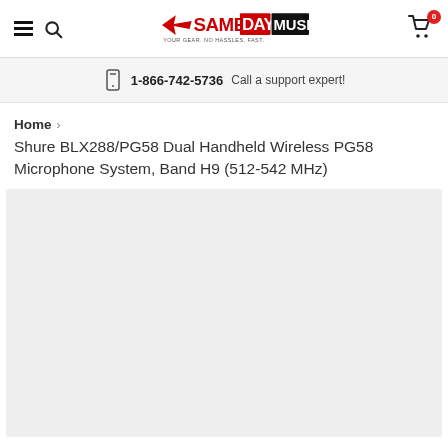Same Day Music — YOUR GEAR. NO HASSLES. FAST.
1-866-742-5736  Call a support expert!
Home > Shure BLX288/PG58 Dual Handheld Wireless PG58 Microphone System, Band H9 (512-542 MHz)
Shure BLX288/PG58 Dual Handheld Wireless PG58 Microphone System, Band H9 (512-542 MHz)
[Figure (photo): Product image placeholder area — gray rectangle, image not loaded]